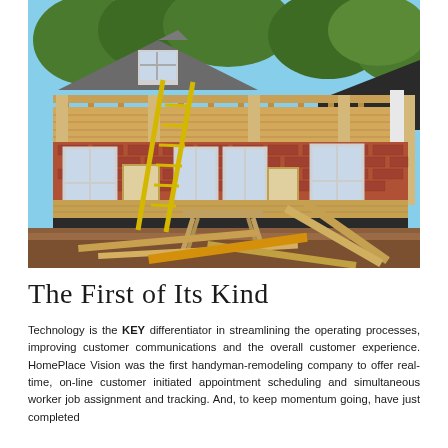[Figure (photo): A house under construction/renovation showing wooden framing for a porch addition, a ladder leaning against the structure, lumber scattered on the ground, and a brick home with white windows in the background surrounded by trees.]
The First of Its Kind
Technology is the KEY differentiator in streamlining the operating processes, improving customer communications and the overall customer experience. HomePlace Vision was the first handyman-remodeling company to offer real-time, on-line customer initiated appointment scheduling and simultaneous worker job assignment and tracking. And, to keep momentum going, have just completed